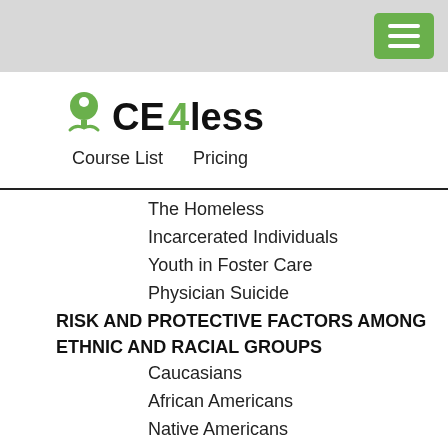[Figure (logo): CE4less logo with green tree icon and text 'CE4less' in black and green]
Course List    Pricing
The Homeless
Incarcerated Individuals
Youth in Foster Care
Physician Suicide
RISK AND PROTECTIVE FACTORS AMONG ETHNIC AND RACIAL GROUPS
Caucasians
African Americans
Native Americans
Immigration and the Risk of Suicide
Hispanic/Latinos
Asian Americans/Pacific Islanders
ASSESSING SUICIDE RISK